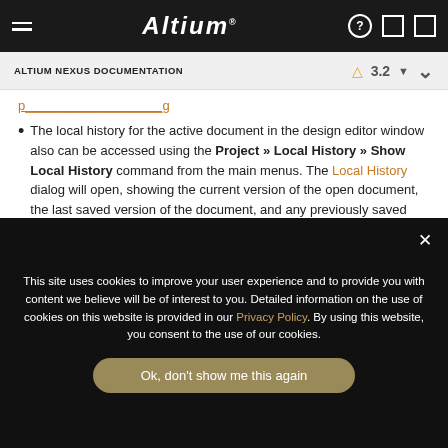Altium
ALTIUM NEXUS DOCUMENTATION  3.2
The local history for the active document in the design editor window also can be accessed using the Project » Local History » Show Local History command from the main menus. The Local History dialog will open, showing the current version of the open document, the last saved version of the document, and any previously saved and stored back-ups.
[Figure (screenshot): Local History dialog window title bar with close button]
This site uses cookies to improve your user experience and to provide you with content we believe will be of interest to you. Detailed information on the use of cookies on this website is provided in our Privacy Policy. By using this website, you consent to the use of our cookies.